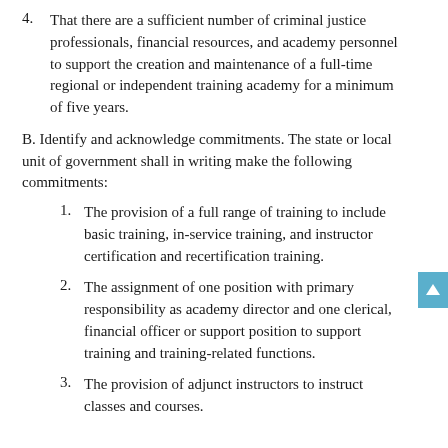4. That there are a sufficient number of criminal justice professionals, financial resources, and academy personnel to support the creation and maintenance of a full-time regional or independent training academy for a minimum of five years.
B. Identify and acknowledge commitments. The state or local unit of government shall in writing make the following commitments:
1. The provision of a full range of training to include basic training, in-service training, and instructor certification and recertification training.
2. The assignment of one position with primary responsibility as academy director and one clerical, financial officer or support position to support training and training-related functions.
3. The provision of adjunct instructors to instruct classes and courses.